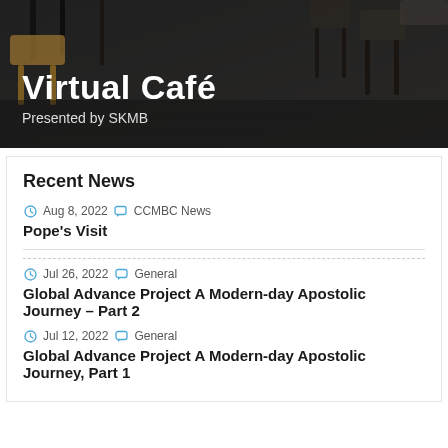[Figure (photo): Dark photo of cafe chairs and bar stools with text overlay saying 'Virtual Café Presented by SKMB']
Recent News
Aug 8, 2022 · CCMBC News
Pope's Visit
Jul 26, 2022 · General
Global Advance Project A Modern-day Apostolic Journey – Part 2
Jul 12, 2022 · General
Global Advance Project A Modern-day Apostolic Journey, Part 1